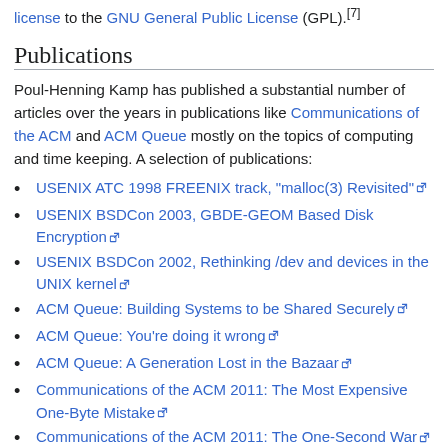license to the GNU General Public License (GPL).[7]
Publications
Poul-Henning Kamp has published a substantial number of articles over the years in publications like Communications of the ACM and ACM Queue mostly on the topics of computing and time keeping. A selection of publications:
USENIX ATC 1998 FREENIX track, "malloc(3) Revisited"
USENIX BSDCon 2003, GBDE-GEOM Based Disk Encryption
USENIX BSDCon 2002, Rethinking /dev and devices in the UNIX kernel
ACM Queue: Building Systems to be Shared Securely
ACM Queue: You're doing it wrong
ACM Queue: A Generation Lost in the Bazaar
Communications of the ACM 2011: The Most Expensive One-Byte Mistake
Communications of the ACM 2011: The One-Second War